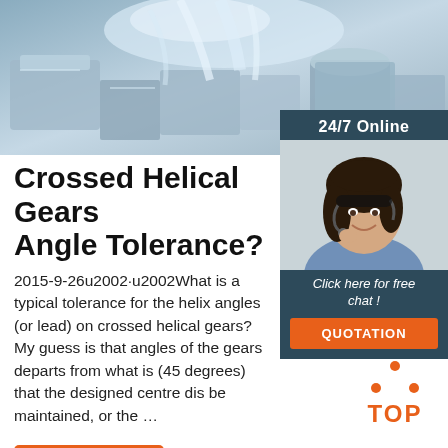[Figure (photo): Industrial machinery/CNC machining with coolant spray, metallic tones]
Crossed Helical Gears Angle Tolerance?
2015-9-26u2002·u2002What is a typical tolerance for the helix angles (or lead) on crossed helical gears? My guess is that angles of the gears departs from what is (45 degrees) that the designed centre dis be maintained, or the …
[Figure (photo): 24/7 Online sidebar with customer service agent photo, Click here for free chat!, QUOTATION button]
Get Price
[Figure (logo): TOP icon with orange dots forming a triangle above the word TOP in orange]